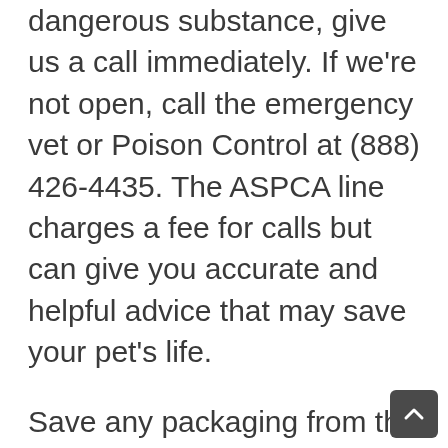dangerous substance, give us a call immediately. If we're not open, call the emergency vet or Poison Control at (888) 426-4435. The ASPCA line charges a fee for calls but can give you accurate and helpful advice that may save your pet's life.
Save any packaging from the product you suspect your pet ingested and bring it with you if you're directed to bring your pet to be seen by a veterinarian. Do not induce vomiting unless you are explicitly directed to do so by a professional.